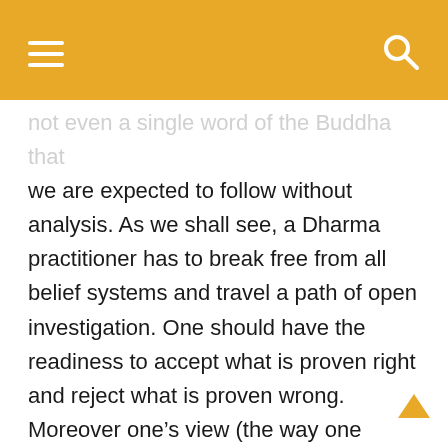☰  [menu]  [search]
not even a single word of the Buddha that we are expected to follow without analysis. As we shall see, a Dharma practitioner has to break free from all belief systems and travel a path of open investigation. One should have the readiness to accept what is proven right and reject what is proven wrong. Moreover one's view (the way one perceives the world and oneself) should be continuously refined and revolutionized as one gains greater insight. The more the view is refined, the more one let go of the clinging on views.